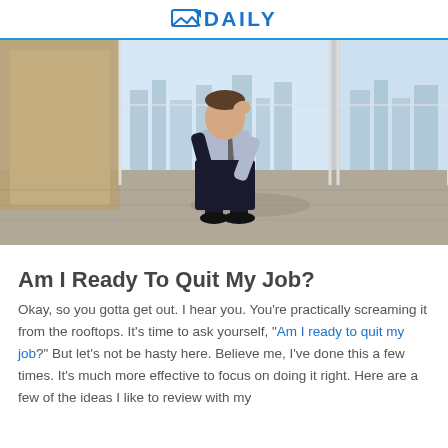DAILY
[Figure (photo): A man in business attire (white shirt, striped tie, black pants) crouching/sitting on a briefcase in an office hallway with large windows and a city view in the background. He is holding his head with one hand, appearing stressed or dejected.]
Am I Ready To Quit My Job?
Okay, so you gotta get out. I hear you. You're practically screaming it from the rooftops. It's time to ask yourself, "Am I ready to quit my job?" But let's not be hasty here. Believe me, I've done this a few times. It's much more effective to focus on doing it right. Here are a few of the ideas I like to review with my